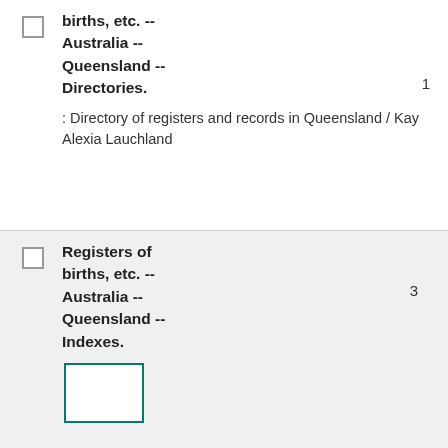Registers of births, etc. -- Australia -- Queensland -- Directories. : Directory of registers and records in Queensland / Kay Alexia Lauchland
Registers of births, etc. -- Australia -- Queensland -- Indexes.